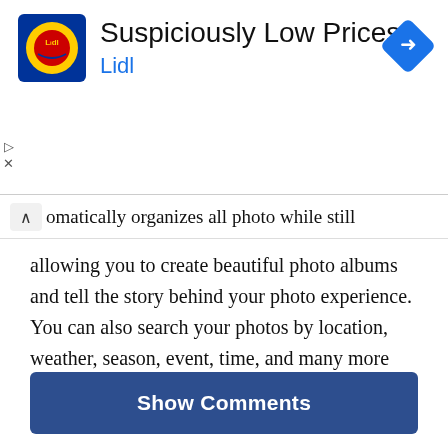[Figure (screenshot): Lidl advertisement banner with Lidl logo, title 'Suspiciously Low Prices', subtitle 'Lidl', and a blue navigation/direction diamond icon in the top right. Play and close controls on the left side.]
omatically organizes all photo while still allowing you to create beautiful photo albums and tell the story behind your photo experience. You can also search your photos by location, weather, season, event, time, and many more categories.
Download: iOS | Amazon
Show Comments